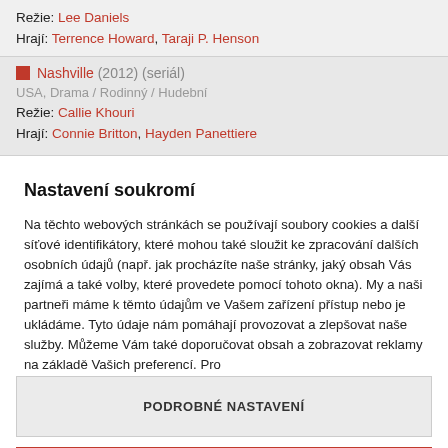Režie: Lee Daniels
Hrají: Terrence Howard, Taraji P. Henson
Nashville (2012) (seriál)
USA, Drama / Rodinný / Hudební
Režie: Callie Khouri
Hrají: Connie Britton, Hayden Panettiere
Nastavení soukromí
Na těchto webových stránkách se používají soubory cookies a další síťové identifikátory, které mohou také sloužit ke zpracování dalších osobních údajů (např. jak procházíte naše stránky, jaký obsah Vás zajímá a také volby, které provedete pomocí tohoto okna). My a naši partneři máme k těmto údajům ve Vašem zařízení přístup nebo je ukládáme. Tyto údaje nám pomáhají provozovat a zlepšovat naše služby. Můžeme Vám také doporučovat obsah a zobrazovat reklamy na základě Vašich preferencí. Pro
PODROBNÉ NASTAVENÍ
ROZUMÍM A PŘIJÍMÁM